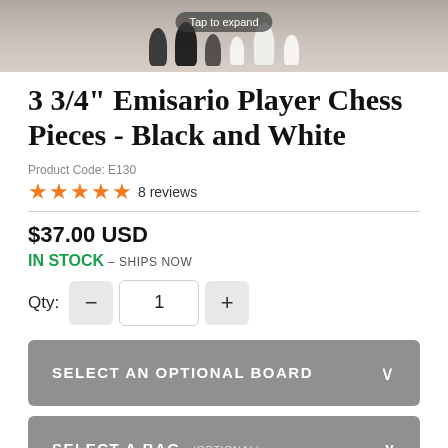[Figure (photo): Chess pieces (black and white) arranged on a board, with a 'Tap to expand' overlay tooltip visible at top center.]
3 3/4" Emisario Player Chess Pieces - Black and White
Product Code: E130
★★★★★ 8 reviews
$37.00 USD
IN STOCK – SHIPS NOW
Qty: 1
SELECT AN OPTIONAL BOARD
SELECT A BAG (OPTIONAL)